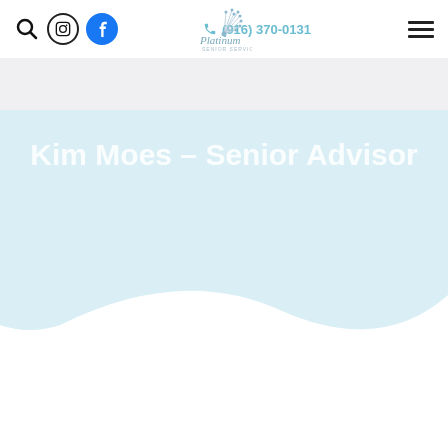Platinum Senior Services | (916) 370-0131
Kim Moes – Senior Advisor